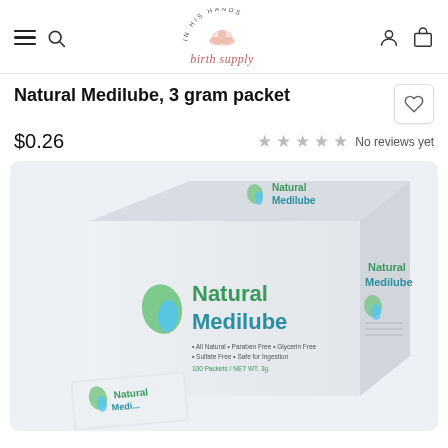In His Hands Birth Supply — navigation header with hamburger menu, search, logo, account and cart icons
Natural Medilube, 3 gram packet
$0.26
No reviews yet
[Figure (photo): Product photo of Natural Medilube 100-packet box. Box is white/light grey with green and teal text reading 'Natural Medilube'. Features a green leaf-drop logo. Text on box: All Natural • Paraben Free • Glycerin Free • Sulfate Free • Safe for Ingestion. 100 Packets / NET WT. 3g. A single packet is visible in the foreground at bottom left.]